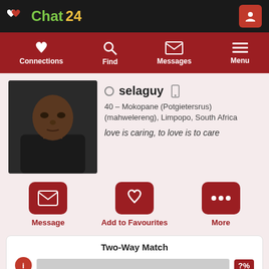Chat 24
Connections | Find | Messages | Menu
[Figure (photo): Profile photo of selaguy, a man in a black jacket]
selaguy
40 – Mokopane (Potgietersrus) (mahwelereng), Limpopo, South Africa
love is caring, to love is to care
Message | Add to Favourites | More
Two-Way Match
Join and create your free profile today to see how well you match with him, and hundreds more.
Join now
Online: More than 6 months ago